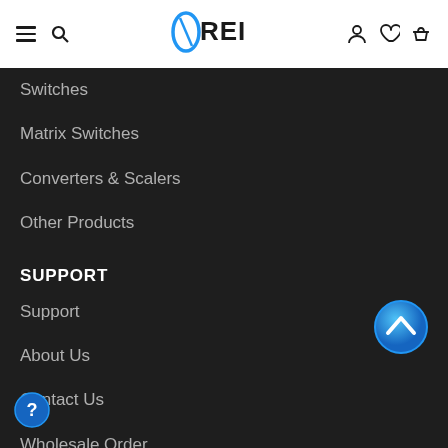REI (logo with navigation icons)
Switches
Matrix Switches
Converters & Scalers
Other Products
SUPPORT
Support
About Us
Contact Us
Wholesale Order
Sitemap
Product Registration